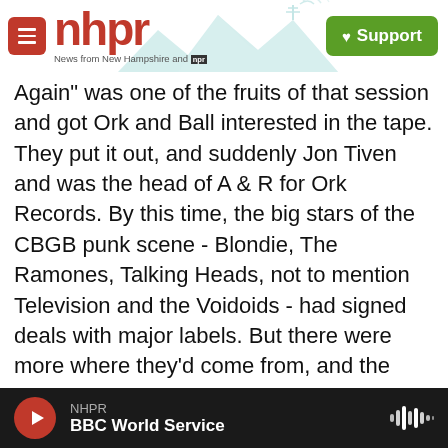[Figure (logo): NHPR logo with hamburger menu button and Support button. New Hampshire Public Radio header with mountain/tower illustration background.]
Again" was one of the fruits of that session and got Ork and Ball interested in the tape. They put it out, and suddenly Jon Tiven and was the head of A & R for Ork Records. By this time, the big stars of the CBGB punk scene - Blondie, The Ramones, Talking Heads, not to mention Television and the Voidoids - had signed deals with major labels. But there were more where they'd come from, and the club's reputation was drawing bands from the rest of the country. And, drawn by Trod Nossel's $5 an-hour recording price that Tiven had negotiated for Ork artists, they were attracted to Ork. Among them were Chris Stamey, a North Carolinian who'd had a
NHPR  BBC World Service